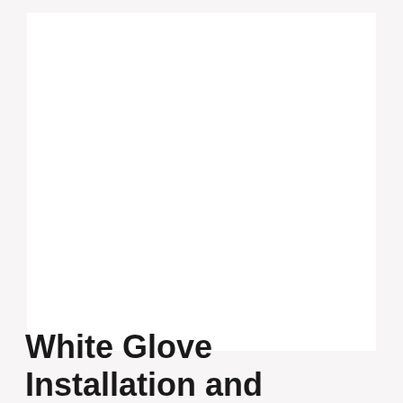[Figure (other): Large white rectangular image/photo area taking up the top portion of the page]
White Glove Installation and